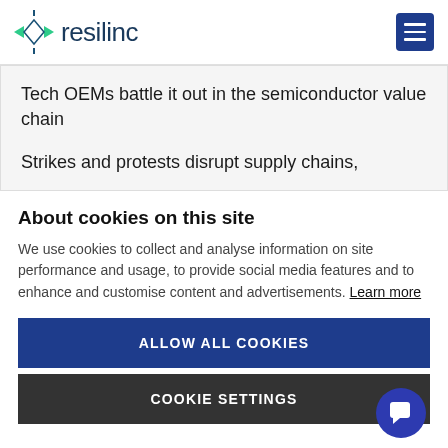[Figure (logo): Resilinc logo with diamond-shaped arrow icon in teal/green and dark blue wordmark 'resilinc']
Tech OEMs battle it out in the semiconductor value chain
Strikes and protests disrupt supply chains,
About cookies on this site
We use cookies to collect and analyse information on site performance and usage, to provide social media features and to enhance and customise content and advertisements. Learn more
ALLOW ALL COOKIES
COOKIE SETTINGS